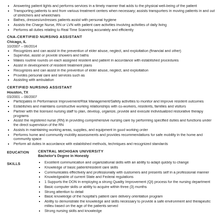Answering patient lights and performs services in a timely manner that adds to the physical well-being of the patient
Transporting patients to and from various treatment centers when necessary; assists transporters in moving patients in and out of stretchers and wheelchairs
Bathes, dresses/undresses patients assist with personal hygiene
Assists the Charge Nurse, RN or LVN with patient care activities involving activities of daily living
Performs all duties relating to Real Time Scanning accurately and efficiently
CNA-CERTIFIED NURSING ASSISTANT
Chicago, IL
10/2007 – 06/2014
Recognizes and can assist in the prevention of elder abuse, neglect, and exploitation (financial and other)
Supervise, assist or provide showers and baths
Makes routine rounds on each assigned resident and patient in accordance with established procedures
Assist in development of resident treatment plans
Recognizes and can assist in the prevention of elder abuse, neglect, and exploitation
Provides personal care and services such as
Assisting with ambulation
CERTIFIED NURSING ASSISTANT
Houston, TX
03/2001 – 08/2007
Participates in Performance Improvement/Risk Management/Safety activities to monitor and improve resident outcomes
Establishes and maintains constructive working relationships with co-workers, residents, families and visitors
Partner with the licensed nursing staff to plan, develop, organize, provide and execute individualized restorative therapy programs
Assist the registered nurse (RN) in providing comprehensive nursing care by performing specified duties and functions under the direct supervision of the RN
Assists in maintaining working areas, supplies, and equipment in good working order
Performs home and community mobility assessments and provides recommendations for safe mobility in the home and community space
Perform all duties in accordance with established methods, techniques and recognized standards
EDUCATION
CENTRAL MICHIGAN UNIVERSITY
Bachelor's Degree in Honesty
SKILLS
Excellent communication and organizational skills with an ability to adapt quickly to change
Knowledge of basic patient/resident care skills
Communicates effectively and professionally with customers and presents self in a professional manner
Knowledgeable of current State and Federal regulations
1 Supports the DON in employing a strong Quality Improvement (QI) process for the nursing department
Basic computer skills or ability to acquire within three (3) months
Strong attention to detail
Basic knowledge of the hospital's patient care delivery orientation program
Ability to demonstrate the knowledge and skills necessary to provide a safe environment and therapeutic milieu based on the age of the patients served
Strong nursing skills and knowledge